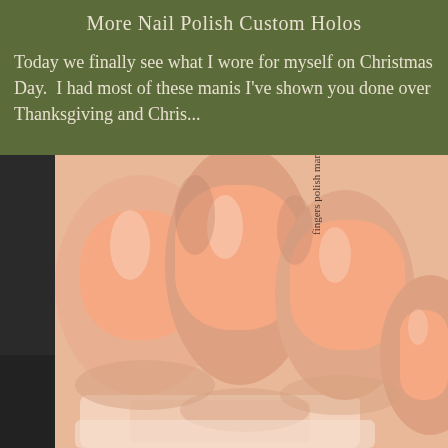More Nail Polish Custom Holos
Today we finally see what I wore for myself on Christmas Day.  I had most of these manis I've shown you done over Thanksgiving and Chris...
[Figure (photo): Close-up photo of a hand with peach/salmon-colored nail polish on multiple nails, with a nail polish bottle visible at the bottom. A watermark reads 'fingers polish mania' diagonally across the image.]